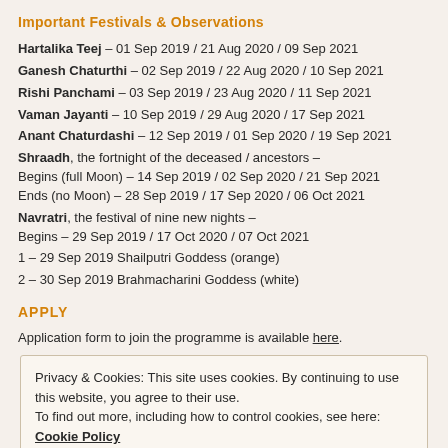Important Festivals & Observations
Hartalika Teej – 01 Sep 2019 / 21 Aug 2020 / 09 Sep 2021
Ganesh Chaturthi – 02 Sep 2019 / 22 Aug 2020 / 10 Sep 2021
Rishi Panchami – 03 Sep 2019 / 23 Aug 2020 / 11 Sep 2021
Vaman Jayanti – 10 Sep 2019 / 29 Aug 2020 / 17 Sep 2021
Anant Chaturdashi – 12 Sep 2019 / 01 Sep 2020 / 19 Sep 2021
Shraadh, the fortnight of the deceased / ancestors – Begins (full Moon) – 14 Sep 2019 / 02 Sep 2020 / 21 Sep 2021 Ends (no Moon) – 28 Sep 2019 / 17 Sep 2020 / 06 Oct 2021
Navratri, the festival of nine new nights – Begins – 29 Sep 2019 / 17 Oct 2020 / 07 Oct 2021
1 – 29 Sep 2019 Shailputri Goddess (orange)
2 – 30 Sep 2019 Brahmacharini Goddess (white)
APPLY
Application form to join the programme is available here.
Privacy & Cookies: This site uses cookies. By continuing to use this website, you agree to their use. To find out more, including how to control cookies, see here: Cookie Policy